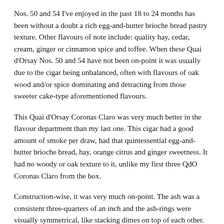Nos. 50 and 54 I've enjoyed in the past 18 to 24 months has been without a doubt a rich egg-and-butter brioche bread pastry texture. Other flavours of note include: quality hay, cedar, cream, ginger or cinnamon spice and toffee. When these Quai d'Orsay Nos. 50 and 54 have not been on-point it was usually due to the cigar being unbalanced, often with flavours of oak wood and/or spice dominating and detracting from those sweeter cake-type aforementioned flavours.
This Quai d'Orsay Coronas Claro was very much better in the flavour department than my last one. This cigar had a good amount of smoke per draw, had that quintessential egg-and-butter brioche bread, hay, orange citrus and ginger sweetness. It had no woody or oak texture to it, unlike my first three QdO Coronas Claro from the box.
Construction-wise, it was very much on-point. The ash was a consistent three-quarters of an inch and the ash-rings were visually symmetrical, like stacking dimes on top of each other.
I'm glad I left this box a few months to settle to better gauge how it was progressing. I imagine I will visit my next QdO Coronas Claro